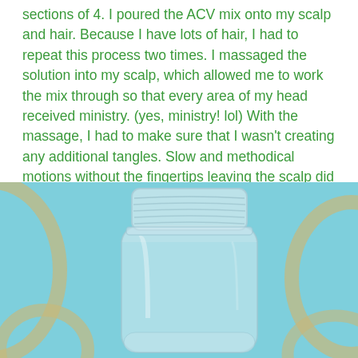sections of 4. I poured the ACV mix onto my scalp and hair. Because I have lots of hair, I had to repeat this process two times. I massaged the solution into my scalp, which allowed me to work the mix through so that every area of my head received ministry. (yes, ministry! lol) With the massage, I had to make sure that I wasn't creating any additional tangles. Slow and methodical motions without the fingertips leaving the scalp did the trick. In addition to working the mix through, I helped to stimulate my hair follicles.
[Figure (photo): A clear empty glass mason jar photographed against a light blue background with decorative cream/tan oval/circular shapes. The jar has a screw-top rim and is positioned centrally.]